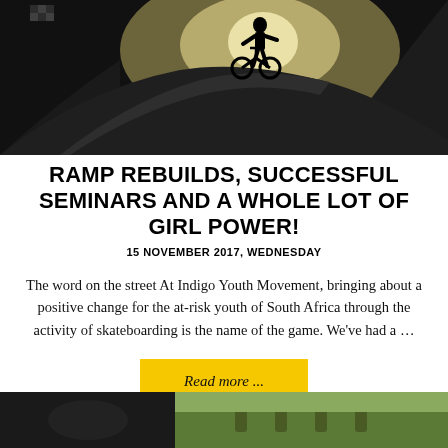[Figure (photo): Silhouetted figure on a skateboard ramp against bright sky, dark dramatic lighting]
RAMP REBUILDS, SUCCESSFUL SEMINARS AND A WHOLE LOT OF GIRL POWER!
15 NOVEMBER 2017, WEDNESDAY
The word on the street At Indigo Youth Movement, bringing about a positive change for the at-risk youth of South Africa through the activity of skateboarding is the name of the game. We've had a ...
Read more ...
[Figure (photo): Two partial photos at the bottom of the page — left shows dark/black image, right shows outdoor scene with people]